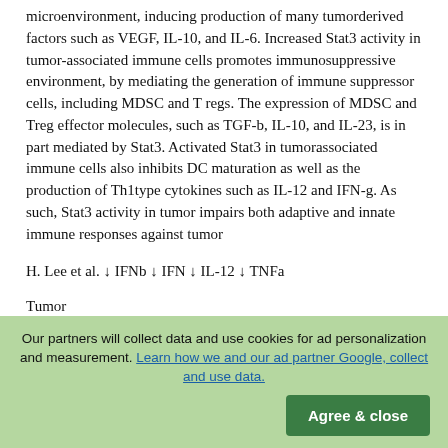microenvironment, inducing production of many tumorderived factors such as VEGF, IL-10, and IL-6. Increased Stat3 activity in tumor-associated immune cells promotes immunosuppressive environment, by mediating the generation of immune suppressor cells, including MDSC and T regs. The expression of MDSC and Treg effector molecules, such as TGF-b, IL-10, and IL-23, is in part mediated by Stat3. Activated Stat3 in tumorassociated immune cells also inhibits DC maturation as well as the production of Th1type cytokines such as IL-12 and IFN-g. As such, Stat3 activity in tumor impairs both adaptive and innate immune responses against tumor
H. Lee et al. ↓ IFNb ↓ IFN ↓ IL-12 ↓ TNFa
Tumor
Stat3P+
↓ RANTES ↓ MHCII ↓ CD80 ↓ CD86
Our partners will collect data and use cookies for ad personalization and measurement. Learn how we and our ad partner Google, collect and use data.
Agree & close